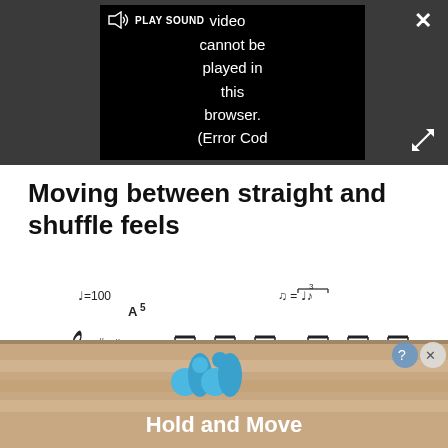[Figure (screenshot): Video player with dark background showing error message: 'Video cannot be played in this browser. (Error Cod' with PLAY SOUND button and close/expand controls]
Moving between straight and shuffle feels
[Figure (other): Sheet music notation showing guitar tablature with tempo marking d=100, A5 chord, 4/4 time signature in A major, with shuffle feel notation, showing two bars of repeated chord patterns with repeat signs]
[Figure (screenshot): Advertisement banner showing animated characters with text 'Hold and Move' on a bowling alley background with close button]